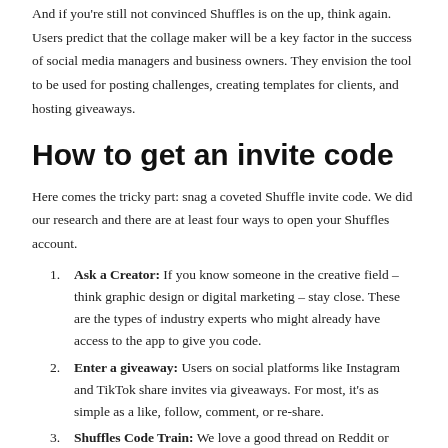And if you're still not convinced Shuffles is on the up, think again. Users predict that the collage maker will be a key factor in the success of social media managers and business owners. They envision the tool to be used for posting challenges, creating templates for clients, and hosting giveaways.
How to get an invite code
Here comes the tricky part: snag a coveted Shuffle invite code. We did our research and there are at least four ways to open your Shuffles account.
Ask a Creator: If you know someone in the creative field – think graphic design or digital marketing – stay close. These are the types of industry experts who might already have access to the app to give you code.
Enter a giveaway: Users on social platforms like Instagram and TikTok share invites via giveaways. For most, it's as simple as a like, follow, comment, or re-share.
Shuffles Code Train: We love a good thread on Reddit or Twitter. If you search for shuffles, you'll find that users